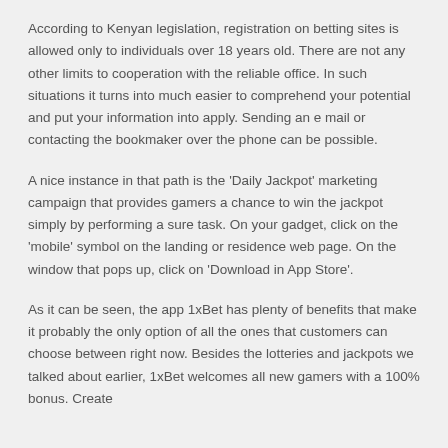According to Kenyan legislation, registration on betting sites is allowed only to individuals over 18 years old. There are not any other limits to cooperation with the reliable office. In such situations it turns into much easier to comprehend your potential and put your information into apply. Sending an e mail or contacting the bookmaker over the phone can be possible.
A nice instance in that path is the 'Daily Jackpot' marketing campaign that provides gamers a chance to win the jackpot simply by performing a sure task. On your gadget, click on the 'mobile' symbol on the landing or residence web page. On the window that pops up, click on 'Download in App Store'.
As it can be seen, the app 1xBet has plenty of benefits that make it probably the only option of all the ones that customers can choose between right now. Besides the lotteries and jackpots we talked about earlier, 1xBet welcomes all new gamers with a 100% bonus. Create